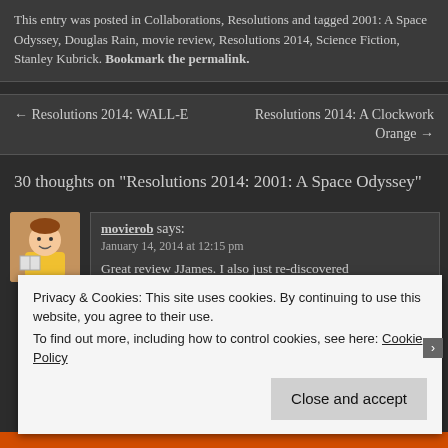This entry was posted in Collaborations, Resolutions and tagged 2001: A Space Odyssey, Douglas Rain, movie review, Resolutions 2014, Science Fiction, Stanley Kubrick. Bookmark the permalink.
← Resolutions 2014: WALL-E
Resolutions 2014: A Clockwork Orange →
30 thoughts on "Resolutions 2014: 2001: A Space Odyssey"
movierob says:
January 14, 2014 at 12:15 pm
Great review JJames. I also just re-discovered
Privacy & Cookies: This site uses cookies. By continuing to use this website, you agree to their use.
To find out more, including how to control cookies, see here: Cookie Policy